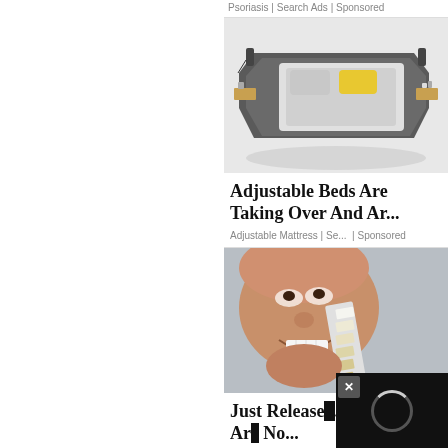Psoriasis | Search Ads | Sponsored
[Figure (photo): Photo of a modern adjustable bed with gray upholstery and a yellow pillow, viewed from above at an angle]
Adjustable Beds Are Taking Over And Ar...
Adjustable Mattress | Se...  | Sponsored
[Figure (photo): Photo of a man smiling and holding a dental implant shade guide up to his teeth]
Just Release... Implants Ar... No...
[Figure (other): Loading spinner overlay popup with X close button on dark background]